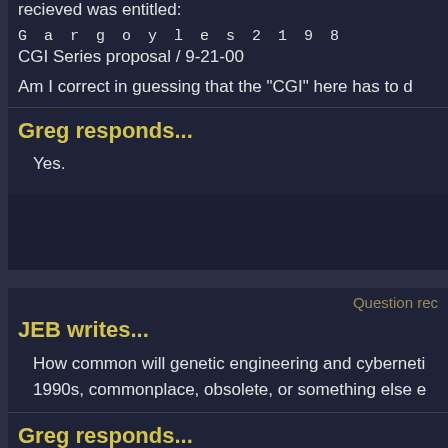recieved was entitled:
G a r g o y l e s 2 1 9 8
CGI Series proposal / 9-21-00
Am I correct in guessing that the "CGI" here has to d
Greg responds...
Yes.
Question rec
JEB writes...
How common will genetic engineering and cybernetic 1990s, commonplace, obsolete, or something else e
Greg responds...
Not quite commonplace. But not as rare as in the twe